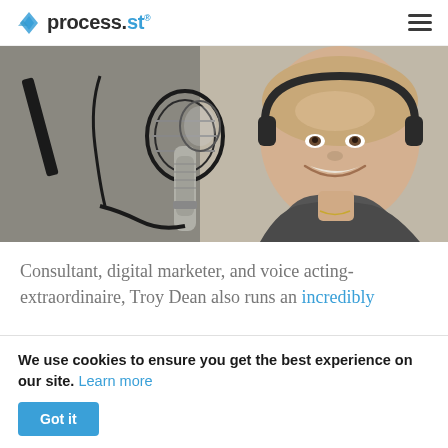process.st
[Figure (photo): Man smiling in a recording studio, wearing headphones, with a large condenser microphone and shock mount in the foreground.]
Consultant, digital marketer, and voice acting-extraordinaire, Troy Dean also runs an incredibly
We use cookies to ensure you get the best experience on our site. Learn more
Got it